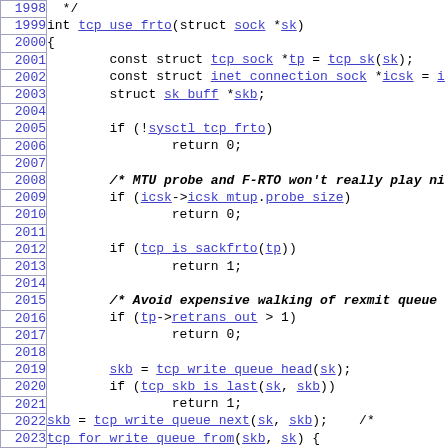Source code listing, lines 1998-2027, function tcp_use_frto
| line | code |
| --- | --- |
| 1998 |    */ |
| 1999 | int tcp_use_frto(struct sock *sk) |
| 2000 | { |
| 2001 |         const struct tcp_sock *tp = tcp_sk(sk); |
| 2002 |         const struct inet_connection_sock *icsk = i |
| 2003 |         struct sk_buff *skb; |
| 2004 |  |
| 2005 |         if (!sysctl_tcp_frto) |
| 2006 |                 return 0; |
| 2007 |  |
| 2008 |         /* MTU probe and F-RTO won't really play ni |
| 2009 |         if (icsk->icsk_mtup.probe_size) |
| 2010 |                 return 0; |
| 2011 |  |
| 2012 |         if (tcp_is_sackfrto(tp)) |
| 2013 |                 return 1; |
| 2014 |  |
| 2015 |         /* Avoid expensive walking of rexmit queue |
| 2016 |         if (tp->retrans_out > 1) |
| 2017 |                 return 0; |
| 2018 |  |
| 2019 |         skb = tcp_write_queue_head(sk); |
| 2020 |         if (tcp_skb_is_last(sk, skb)) |
| 2021 |                 return 1; |
| 2022 |         skb = tcp_write_queue_next(sk, skb);    /* |
| 2023 |         tcp_for_write_queue_from(skb, sk) { |
| 2024 |                 if (skb == tcp_send_head(sk)) |
| 2025 |                         break; |
| 2026 |                 if (TCP_SKB_CB(skb)->sacked & TCPCB |
| 2027 |                         return 0; |